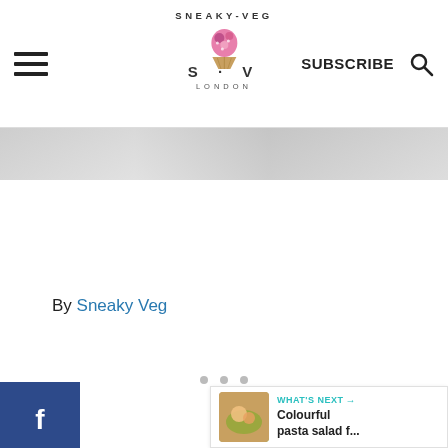SNEAKY-VEG S · V LONDON | SUBSCRIBE
[Figure (photo): Partial food photo strip at top of article, mostly clipped]
By Sneaky Veg
[Figure (other): Social share sidebar: Facebook (f), Twitter (bird), Pinterest (p) buttons]
[Figure (other): Heart/like button showing 210, and share button]
[Figure (other): What's Next promo: thumbnail of pasta salad, label WHAT'S NEXT, title Colourful pasta salad f...]